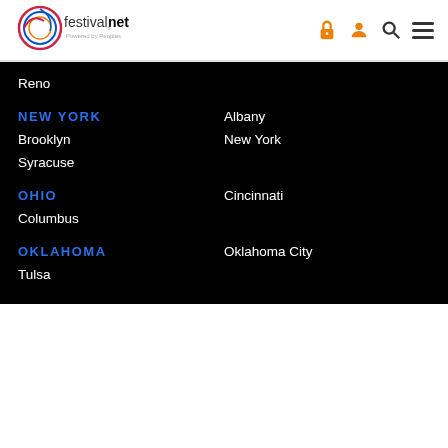[Figure (logo): FestivalNet logo - circular swirl icon with festivalnet. text, Powered by Peoples subtitle]
Reno
NEW YORK
Albany
Brooklyn
New York
Syracuse
OHIO
Cincinnati
Columbus
OKLAHOMA
Oklahoma City
Tulsa